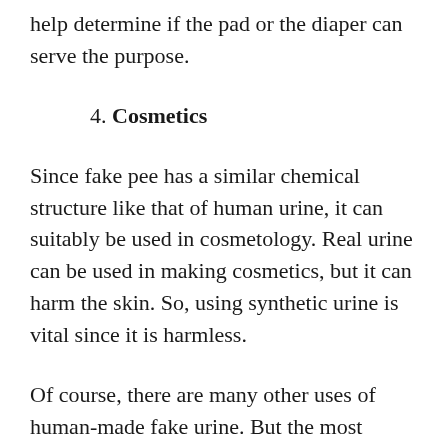help determine if the pad or the diaper can serve the purpose.
4. Cosmetics
Since fake pee has a similar chemical structure like that of human urine, it can suitably be used in cosmetology. Real urine can be used in making cosmetics, but it can harm the skin. So, using synthetic urine is vital since it is harmless.
Of course, there are many other uses of human-made fake urine. But the most important ones include passing drug tests, for practical lessons, in the manufacturing of pads and cosmetics.